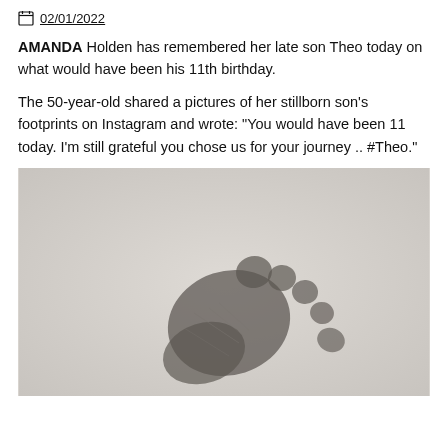02/01/2022
AMANDA Holden has remembered her late son Theo today on what would have been his 11th birthday.
The 50-year-old shared a pictures of her stillborn son's footprints on Instagram and wrote: “You would have been 11 today. I’m still grateful you chose us for your journey .. #Theo.”
[Figure (photo): A black and white close-up photograph of a small baby footprint/ink impression on light paper background.]